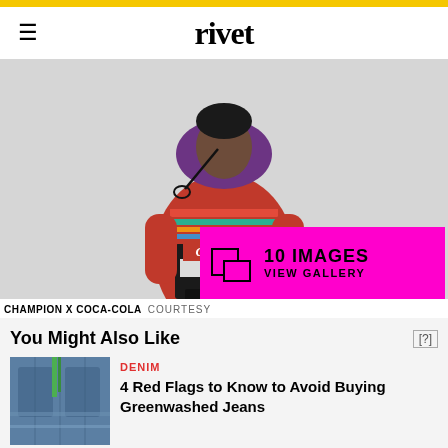rivet
[Figure (photo): Young man wearing a colorful Champion x Coca-Cola hoodie with purple hood, red and multicolor body with Coca-Cola script logo, against a light gray background. A pink gallery overlay reads '10 IMAGES / VIEW GALLERY'.]
CHAMPION X COCA-COLA  COURTESY
You Might Also Like
[Figure (photo): Close-up of distressed blue denim jeans with a green plant stem in the pocket.]
DENIM
4 Red Flags to Know to Avoid Buying Greenwashed Jeans